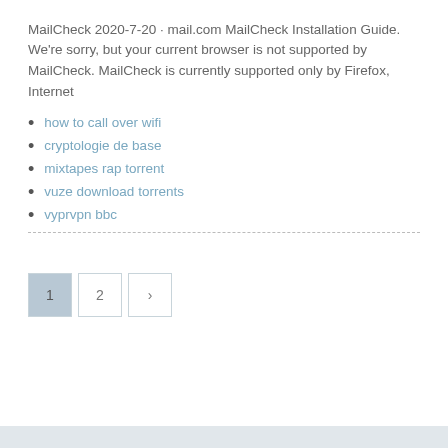MailCheck 2020-7-20 · mail.com MailCheck Installation Guide. We're sorry, but your current browser is not supported by MailCheck. MailCheck is currently supported only by Firefox, Internet
how to call over wifi
cryptologie de base
mixtapes rap torrent
vuze download torrents
vyprvpn bbc